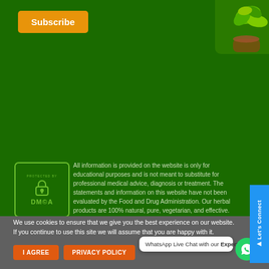[Figure (other): Subscribe button (orange rounded rectangle) and herbal plant basket image in top-right corner on green background]
[Figure (logo): DMCA Protected badge - green bordered box with lock icon and DMCA text]
All information is provided on the website is only for educational purposes and is not meant to substitute for professional medical advice, diagnosis or treatment. The statements and information on this website have not been evaluated by the Food and Drug Administration. Our herbal products are 100% natural, pure, vegetarian, and effective. The results may vary from person to person, therefore, before
We use cookies to ensure that we give you the best experience on our website. If you continue to use this site we will assume that you are happy with it.
[Figure (other): WhatsApp Live Chat speech bubble with text 'WhatsApp Live Chat with our Experts' and green WhatsApp circle icon]
I AGREE
PRIVACY POLICY
[Figure (other): Let's Connect blue vertical sidebar tab on right edge]